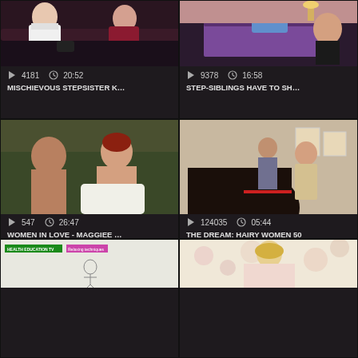[Figure (screenshot): Video thumbnail: man and woman on dark sofa]
▷ 4181   🕐 20:52
MISCHIEVOUS STEPSISTER K…
[Figure (screenshot): Video thumbnail: bedroom scene with purple bedding]
▷ 9378   🕐 16:58
STEP-SIBLINGS HAVE TO SH…
[Figure (screenshot): Video thumbnail: two people in intimate scene on green background]
▷ 547   🕐 26:47
WOMEN IN LOVE - MAGGIEE …
[Figure (screenshot): Video thumbnail: group of people at party/event]
▷ 124035   🕐 05:44
THE DREAM: HAIRY WOMEN 50
[Figure (screenshot): Video thumbnail: health education TV with relaxing techniques banner and anatomy figure]
[Figure (screenshot): Video thumbnail: blonde person on floral background]